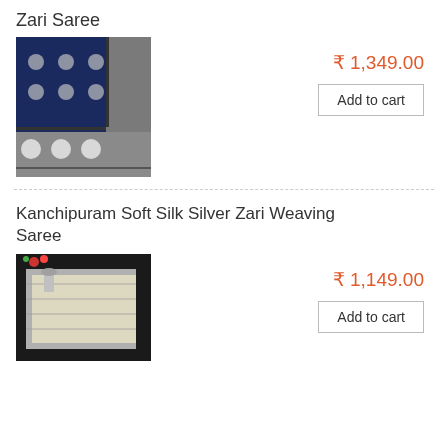Zari Saree
[Figure (photo): Dark navy blue zari saree with silver circle motifs and ornate silver border]
₹ 1,349.00
Add to cart
Kanchipuram Soft Silk Silver Zari Weaving Saree
[Figure (photo): Off-white/cream Kanchipuram silk saree with silver zari weaving, displayed folded on dark background with flowers]
₹ 1,149.00
Add to cart